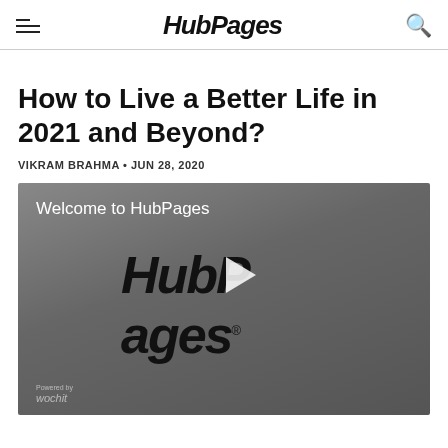HubPages
How to Live a Better Life in 2021 and Beyond?
VIKRAM BRAHMA • JUN 28, 2020
[Figure (screenshot): Video player showing HubPages welcome screen with HubPages logo and play button, powered by Wochit]